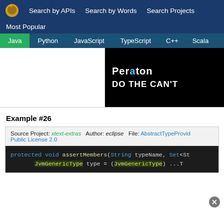Search by APIs   Search by Words   Search Projects
Most Popular
Java  Python  JavaScript  TypeScript  C++  Scala
[Figure (screenshot): Peraton advertisement banner: black background, 'Peraton' logo with teal dot, tagline 'DO THE CAN'T']
Example #26
Source Project: xtext-extras   Author: eclipse   File: AbstractTypeProvid...   Public License 2.0
protected void assertMembers(String typeName, Set<St...
        JvmGenericType type = (JvmGenericType) ...T